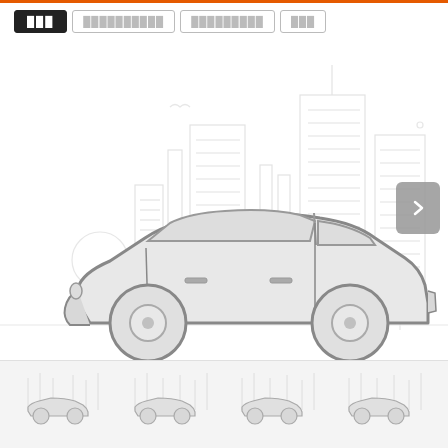[navigation bar with tab buttons: active tab, tab 2, tab 3, tab 4]
[Figure (illustration): Large car illustration (sedan side view) with city skyline background in light gray lineart style. A navigation arrow button on the right side.]
[Figure (illustration): Thumbnail row showing 4 small car icons with light city background in gray lineart style.]